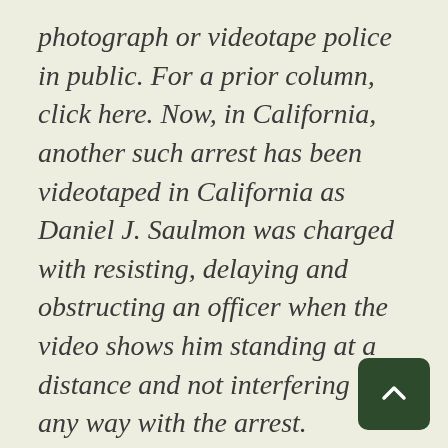photograph or videotape police in public. For a prior column, click here. Now, in California, another such arrest has been videotaped in California as Daniel J. Saulmon was charged with resisting, delaying and obstructing an officer when the video shows him standing at a distance and not interfering in any way with the arrest.
The officer immediately demanded to know what Saulmon is doing whe it is obvious, as Saulmon indicates